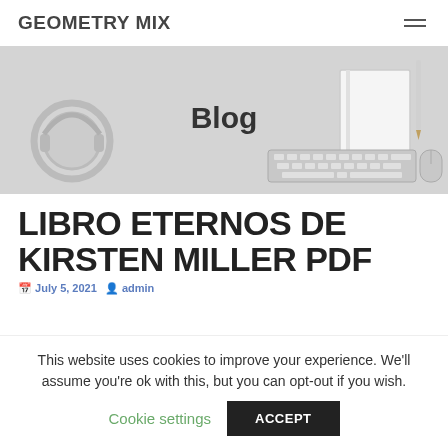GEOMETRY MIX
[Figure (illustration): Blog hero banner with grey background showing headphones, keyboard, notebook and mouse, with bold text 'Blog' in center]
LIBRO ETERNOS DE KIRSTEN MILLER PDF
July 5, 2021  admin
This website uses cookies to improve your experience. We'll assume you're ok with this, but you can opt-out if you wish.